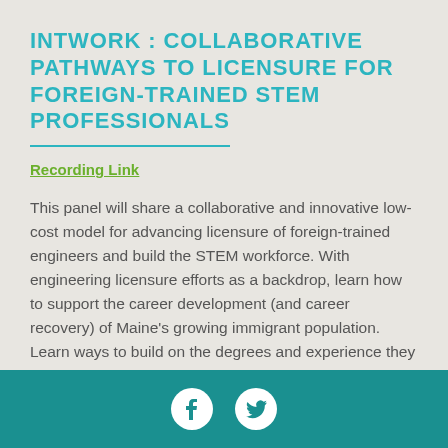INTWORK : COLLABORATIVE PATHWAYS TO LICENSURE FOR FOREIGN-TRAINED STEM PROFESSIONALS
Recording Link
This panel will share a collaborative and innovative low-cost model for advancing licensure of foreign-trained engineers and build the STEM workforce. With engineering licensure efforts as a backdrop, learn how to support the career development (and career recovery) of Maine's growing immigrant population. Learn ways to build on the degrees and experience they bring.
[Figure (infographic): Teal footer bar with white Facebook and Twitter social media icons centered.]